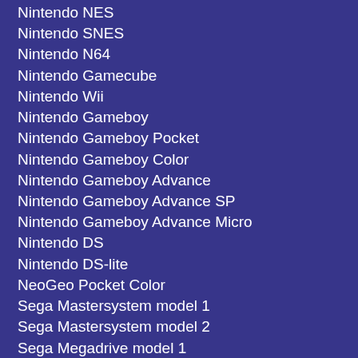Nintendo NES
Nintendo SNES
Nintendo N64
Nintendo Gamecube
Nintendo Wii
Nintendo Gameboy
Nintendo Gameboy Pocket
Nintendo Gameboy Color
Nintendo Gameboy Advance
Nintendo Gameboy Advance SP
Nintendo Gameboy Advance Micro
Nintendo DS
Nintendo DS-lite
NeoGeo Pocket Color
Sega Mastersystem model 1
Sega Mastersystem model 2
Sega Megadrive model 1
Sega Megadrive model 2
Sega CD model 2